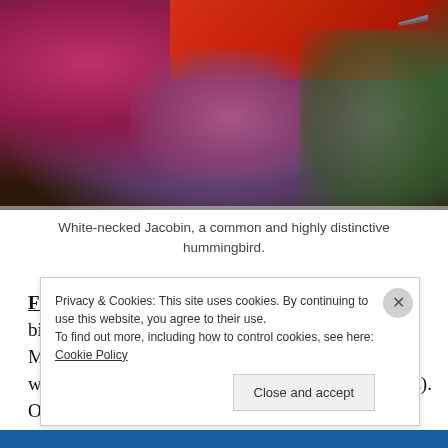[Figure (photo): Close-up photo of a White-necked Jacobin hummingbird near a feeder with purple flowers and green foliage in the background. The bird's beak is visible at upper right.]
White-necked Jacobin, a common and highly distinctive hummingbird.
Food: Sometimes I had lunch if it fitted in with birding (for example at Mirador Rio Blanco in San Miguel de los Bancos, where I could eat while watching Rufous-throated Tanagers at the feeders). Otherwise, I
Privacy & Cookies: This site uses cookies. By continuing to use this website, you agree to their use.
To find out more, including how to control cookies, see here: Cookie Policy

Close and accept